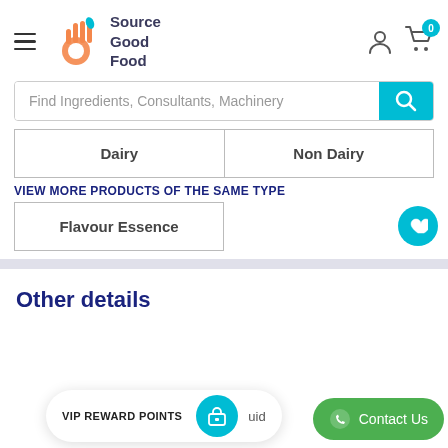[Figure (logo): Source Good Food logo with orange hand/OK gesture icon and teal leaf, text 'Source Good Food' in dark blue]
Find Ingredients, Consultants, Machinery
Dairy
Non Dairy
VIEW MORE PRODUCTS OF THE SAME TYPE
Flavour Essence
Other details
VIP REWARD POINTS
uid
Contact Us